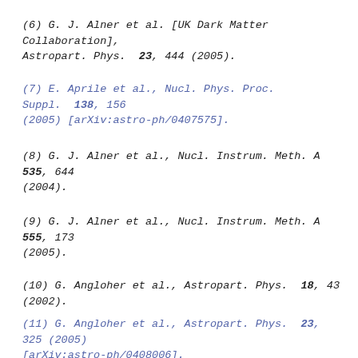(6) G. J. Alner et al. [UK Dark Matter Collaboration], Astropart. Phys. 23, 444 (2005).
(7) E. Aprile et al., Nucl. Phys. Proc. Suppl. 138, 156 (2005) [arXiv:astro-ph/0407575].
(8) G. J. Alner et al., Nucl. Instrum. Meth. A 535, 644 (2004).
(9) G. J. Alner et al., Nucl. Instrum. Meth. A 555, 173 (2005).
(10) G. Angloher et al., Astropart. Phys. 18, 43 (2002).
(11) G. Angloher et al., Astropart. Phys. 23, 325 (2005) [arXiv:astro-ph/0408006].